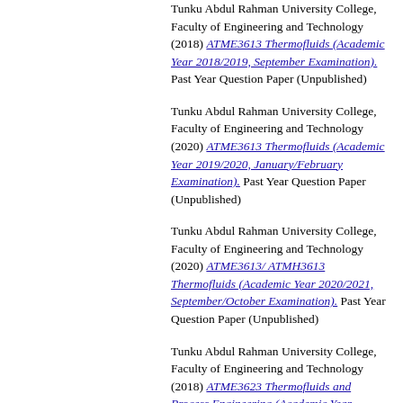Tunku Abdul Rahman University College, Faculty of Engineering and Technology (2018) ATME3613 Thermofluids (Academic Year 2018/2019, September Examination). Past Year Question Paper (Unpublished)
Tunku Abdul Rahman University College, Faculty of Engineering and Technology (2020) ATME3613 Thermofluids (Academic Year 2019/2020, January/February Examination). Past Year Question Paper (Unpublished)
Tunku Abdul Rahman University College, Faculty of Engineering and Technology (2020) ATME3613/ ATMH3613 Thermofluids (Academic Year 2020/2021, September/October Examination). Past Year Question Paper (Unpublished)
Tunku Abdul Rahman University College, Faculty of Engineering and Technology (2018) ATME3623 Thermofluids and Process Engineering (Academic Year 2018/2019, September Examination). Past Year Question Paper (Unpublished)
Tunku Abdul Rahman University College, Faculty of Engineering and Technology (2019) ATME3623 Thermofluids and Process Engineering (Academic Year 2019/2020,